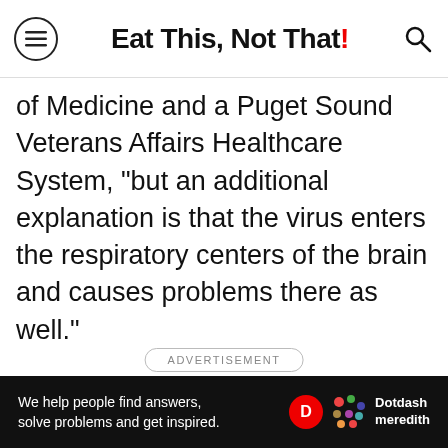Eat This, Not That!
of Medicine and a Puget Sound Veterans Affairs Healthcare System, "but an additional explanation is that the virus enters the respiratory centers of the brain and causes problems there as well."
ADVERTISEMENT
[Figure (other): Dotdash Meredith advertisement banner: 'We help people find answers, solve problems and get inspired.' with Dotdash Meredith logo]